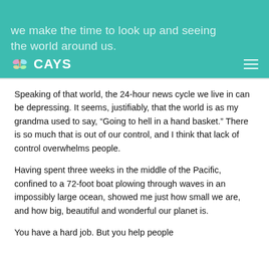CAYS
we make the time to look up and seeing the world around us.
Speaking of that world, the 24-hour news cycle we live in can be depressing. It seems, justifiably, that the world is as my grandma used to say, “Going to hell in a hand basket.” There is so much that is out of our control, and I think that lack of control overwhelms people.
Having spent three weeks in the middle of the Pacific, confined to a 72-foot boat plowing through waves in an impossibly large ocean, showed me just how small we are, and how big, beautiful and wonderful our planet is.
You have a hard job. But you help people